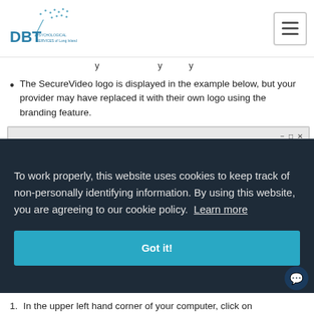DBT Psychological Services of Long Island
The SecureVideo logo is displayed in the example below, but your provider may have replaced it with their own logo using the branding feature.
[Figure (screenshot): Browser screenshot showing a SecureVideo session URL in Internet Explorer, with a red arrow pointing to the address bar area. A cookie consent overlay is displayed on top with text: 'To work properly, this website uses cookies to keep track of non-personally identifying information. By using this website, you are agreeing to our cookie policy. Learn more' and a 'Got it!' button.]
In the upper left hand corner of your computer, click on